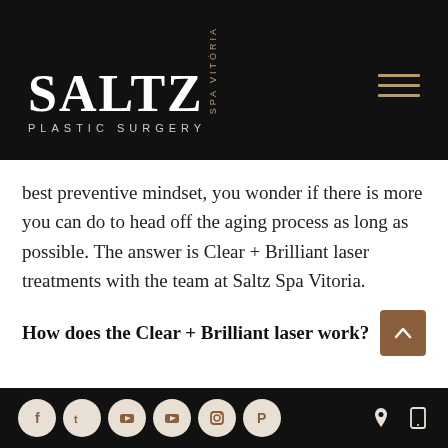[Figure (logo): Saltz Plastic Surgery Spa Vitória logo in white text on black background, with hamburger menu icon in tan/gold color on the right]
best preventive mindset, you wonder if there is more you can do to head off the aging process as long as possible. The answer is Clear + Brilliant laser treatments with the team at Saltz Spa Vitoria.
How does the Clear + Brilliant laser work?
[Figure (other): Footer with social media icons (Facebook, Twitter, YouTube, YouTube, Instagram, Pinterest) as circles on black background, and location/mobile icons on the right]